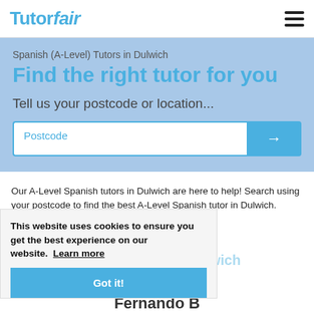[Figure (logo): TutorFair logo in blue text with 'fair' in italic]
Spanish (A-Level) Tutors in Dulwich
Find the right tutor for you
Tell us your postcode or location...
Our A-Level Spanish tutors in Dulwich are here to help! Search using your postcode to find the best A-Level Spanish tutor in Dulwich.
This website uses cookies to ensure you get the best experience on our website.  Learn more
Got it!
A-Level Spanish Tutors in Dulwich
Fernando B